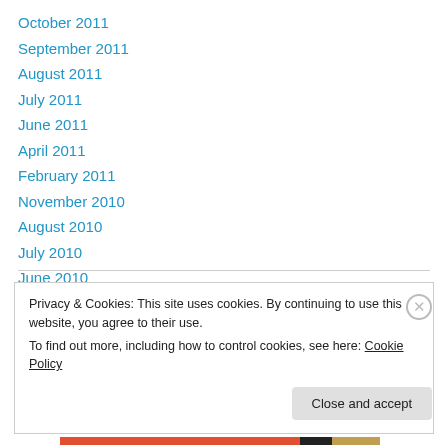October 2011
September 2011
August 2011
July 2011
June 2011
April 2011
February 2011
November 2010
August 2010
July 2010
June 2010
Privacy & Cookies: This site uses cookies. By continuing to use this website, you agree to their use. To find out more, including how to control cookies, see here: Cookie Policy
Close and accept